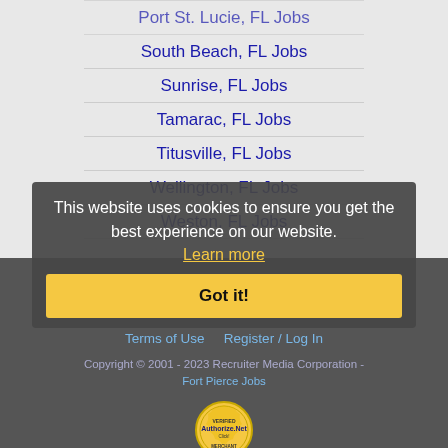Port St. Lucie, FL Jobs
South Beach, FL Jobs
Sunrise, FL Jobs
Tamarac, FL Jobs
Titusville, FL Jobs
Wellington, FL Jobs
Weston, FL Jobs
Home | Profile and Resume | Browse Jobs | Employers | Other Cities | Clients List | About Us | Contact Us | Help | Terms of Use | Register / Log In
Copyright © 2001 - 2023 Recruiter Media Corporation - Fort Pierce Jobs
This website uses cookies to ensure you get the best experience on our website. Learn more
Got it!
[Figure (logo): Authorize.Net Verified Merchant seal/badge]